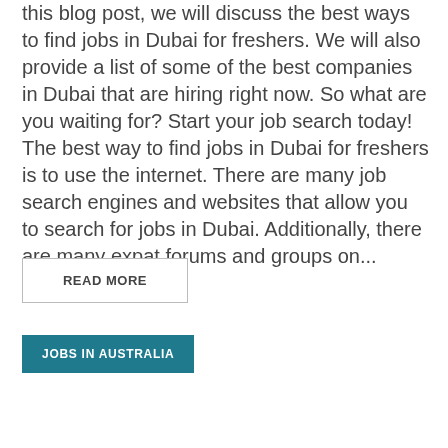this blog post, we will discuss the best ways to find jobs in Dubai for freshers. We will also provide a list of some of the best companies in Dubai that are hiring right now. So what are you waiting for? Start your job search today! The best way to find jobs in Dubai for freshers is to use the internet. There are many job search engines and websites that allow you to search for jobs in Dubai. Additionally, there are many expat forums and groups on...
READ MORE
JOBS IN AUSTRALIA